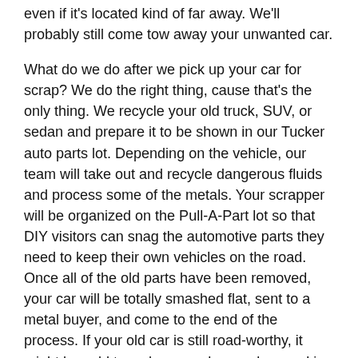even if it's located kind of far away. We'll probably still come tow away your unwanted car.
What do we do after we pick up your car for scrap? We do the right thing, cause that's the only thing. We recycle your old truck, SUV, or sedan and prepare it to be shown in our Tucker auto parts lot. Depending on the vehicle, our team will take out and recycle dangerous fluids and process some of the metals. Your scrapper will be organized on the Pull-A-Part lot so that DIY visitors can snag the automotive parts they need to keep their own vehicles on the road. Once all of the old parts have been removed, your car will be totally smashed flat, sent to a metal buyer, and come to the end of the process. If your old car is still road-worthy, it might be sold to a shopper who needs a working car instead.
Ready to wave goodbye to that eyesore in your driveway? Sell it for cash to our junkyard in Georgia. Call now for a free quote, free pick-up, and a wad of cash for almost any old car! Beaters, clunkers, bumper-dinged, or not working — your junk car can become a stack of cash today.